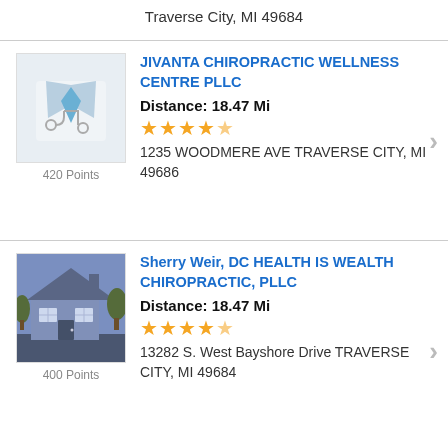Traverse City, MI 49684
JIVANTA CHIROPRACTIC WELLNESS CENTRE PLLC
Distance: 18.47 Mi
★★★★☆
1235 WOODMERE AVE TRAVERSE CITY, MI 49686
420 Points
Sherry Weir, DC HEALTH IS WEALTH CHIROPRACTIC, PLLC
Distance: 18.47 Mi
★★★★☆
13282 S. West Bayshore Drive TRAVERSE CITY, MI 49684
400 Points